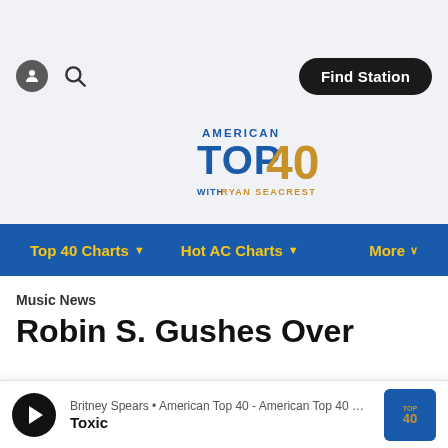[Figure (screenshot): Top navigation area with gray background, person icon, search icon, and Find Station button]
[Figure (logo): American Top 40 with Ryan Seacrest logo — blue and gold]
[Figure (screenshot): Blue navigation bar with Top 40 Charts, Hot AC Charts, More menu items in gold]
Music News
Robin S. Gushes Over
[Figure (screenshot): Audio player bar: play button, Britney Spears • American Top 40 - American Top 40 wit..., Toxic, thumbnail image]